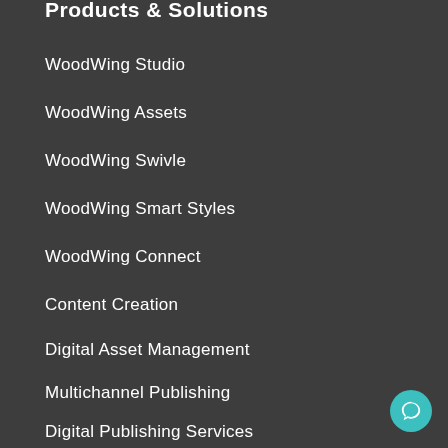Products & Solutions
WoodWing Studio
WoodWing Assets
WoodWing Swivle
WoodWing Smart Styles
WoodWing Connect
Content Creation
Digital Asset Management
Multichannel Publishing
Digital Publishing Services
Creative Workflow Services